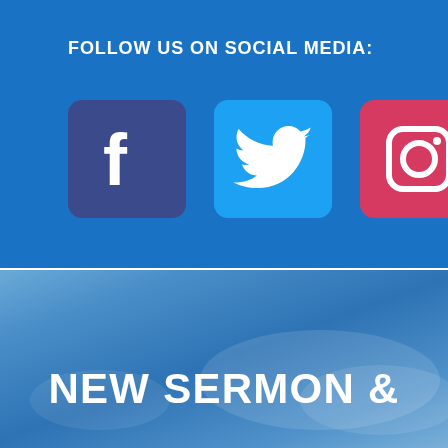FOLLOW US ON SOCIAL MEDIA:
[Figure (illustration): Three social media icons: Facebook (dark blue/purple square with white 'f'), Twitter (light blue square with white bird), Instagram (red/pink square with white camera icon)]
[Figure (photo): Blue sky background with clouds, lower half of page]
NEW SERMON &